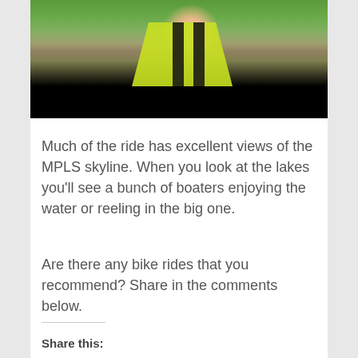[Figure (photo): A baby or young toddler wearing a yellow and black safety vest/harness, photographed from above outdoors. The lower portion of the image is black (cropped). Green grass and a sidewalk are visible in the background.]
Much of the ride has excellent views of the MPLS skyline. When you look at the lakes you'll see a bunch of boaters enjoying the water or reeling in the big one.
Are there any bike rides that you recommend? Share in the comments below.
Share this: